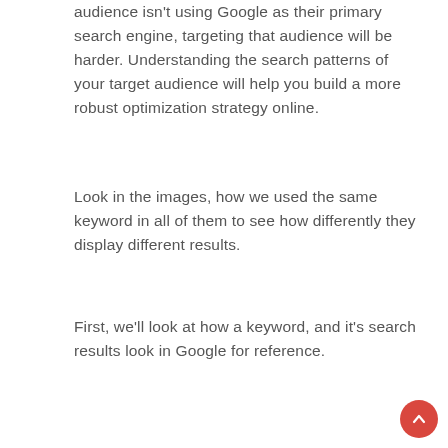audience isn't using Google as their primary search engine, targeting that audience will be harder. Understanding the search patterns of your target audience will help you build a more robust optimization strategy online.
Look in the images, how we used the same keyword in all of them to see how differently they display different results.
First, we'll look at how a keyword, and it's search results look in Google for reference.